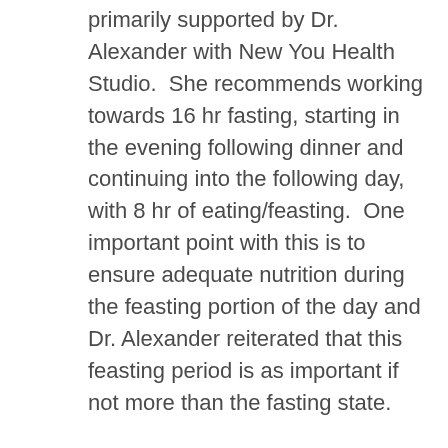2. Intermittent Fasting – this topic was primarily supported by Dr. Alexander with New You Health Studio.  She recommends working towards 16 hr fasting, starting in the evening following dinner and continuing into the following day, with 8 hr of eating/feasting.  One important point with this is to ensure adequate nutrition during the feasting portion of the day and Dr. Alexander reiterated that this feasting period is as important if not more than the fasting state. Intermittent fasting can help